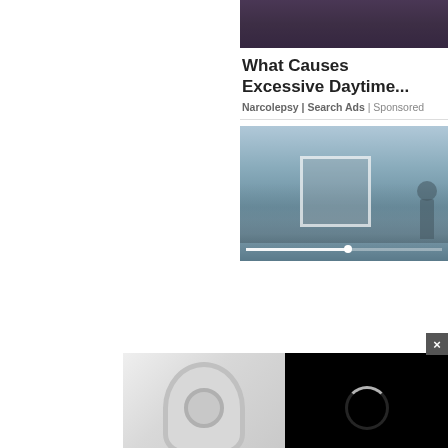[Figure (photo): Partial photo of a person in dark clothing with arms crossed, top portion visible]
What Causes Excessive Daytime...
Narcolepsy | Search Ads | Sponsored
[Figure (screenshot): Video player thumbnail showing misty mountain landscape with a hiker silhouette and a video playback progress bar]
[Figure (photo): Bottom split area showing a white fan/air purifier on the left and a video loading overlay with spinner on the right, with a close (x) button]